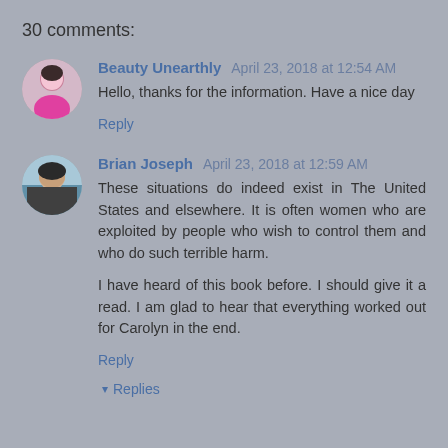30 comments:
Beauty Unearthly  April 23, 2018 at 12:54 AM
Hello, thanks for the information. Have a nice day
Reply
Brian Joseph  April 23, 2018 at 12:59 AM
These situations do indeed exist in The United States and elsewhere. It is often women who are exploited by people who wish to control them and who do such terrible harm.
I have heard of this book before. I should give it a read. I am glad to hear that everything worked out for Carolyn in the end.
Reply
▾ Replies